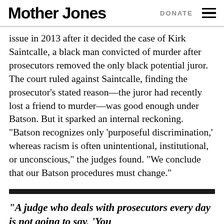Mother Jones | DONATE
issue in 2013 after it decided the case of Kirk Saintcalle, a black man convicted of murder after prosecutors removed the only black potential juror. The court ruled against Saintcalle, finding the prosecutor’s stated reason—the juror had recently lost a friend to murder—was good enough under Batson. But it sparked an internal reckoning. “Batson recognizes only ‘purposeful discrimination,’ whereas racism is often unintentional, institutional, or unconscious,” the judges found. “We conclude that our Batson procedures must change.”
“A judge who deals with prosecutors every day is not going to say, ‘You